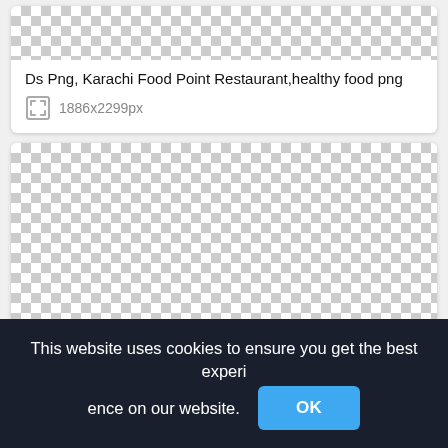[Figure (screenshot): Checkerboard transparency placeholder image area at top of card]
Ds Png, Karachi Food Point Restaurant,healthy food png
1886x2299px
[Figure (screenshot): Large checkerboard transparency placeholder image area]
This website uses cookies to ensure you get the best experience on our website.